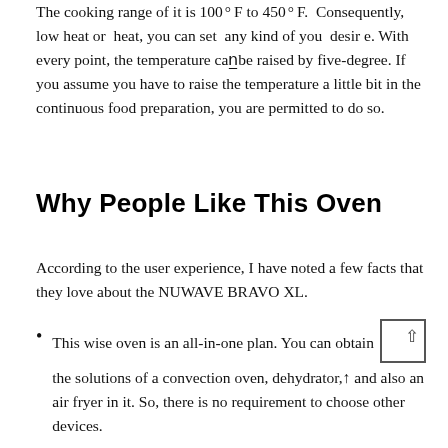The cooking range of it is 100°F to 450°F. Consequently, low heat or heat, you can set any kind of you desire. With every point, the temperature can be raised by five-degree. If you assume you have to raise the temperature a little bit in the continuous food preparation, you are permitted to do so.
Why People Like This Oven
According to the user experience, I have noted a few facts that they love about the NUWAVE BRAVO XL.
This wise oven is an all-in-one plan. You can obtain the solutions of a convection oven, dehydrator, and also an air fryer in it. So, there is no requirement to choose other devices.